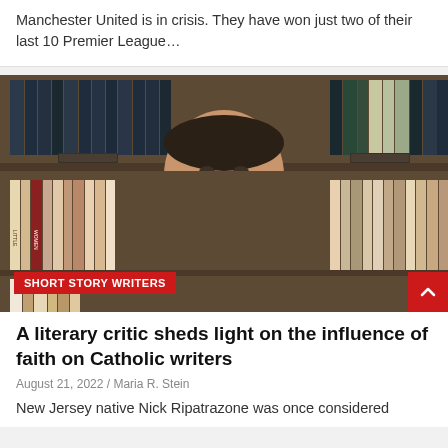Manchester United is in crisis. They have won just two of their last 10 Premier League…
[Figure (photo): Man in purple polo shirt sitting in front of a bookshelf filled with books. A red label reading 'SHORT STORY WRITERS' is overlaid at the bottom left of the image.]
SHORT STORY WRITERS
A literary critic sheds light on the influence of faith on Catholic writers
August 21, 2022 / Maria R. Stein
New Jersey native Nick Ripatrazone was once considered